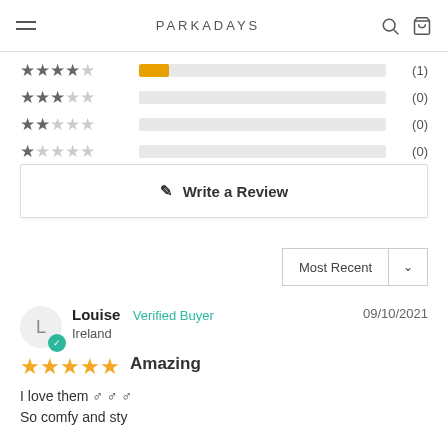PARKADAYS
[Figure (infographic): Star rating bar chart showing distribution: 4-star (1), 3-star (0), 2-star (0), 1-star (0)]
Write a Review
Most Recent
Louise  Verified Buyer  Ireland  09/10/2021
Amazing
I love them ♂ ♂ ♂
So comfy and sty